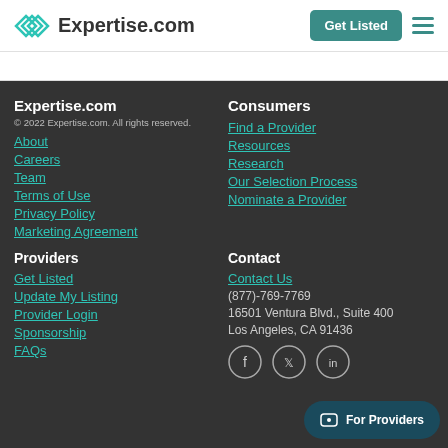Expertise.com | Get Listed
Expertise.com
© 2022 Expertise.com. All rights reserved.
About
Careers
Team
Terms of Use
Privacy Policy
Marketing Agreement
Consumers
Find a Provider
Resources
Research
Our Selection Process
Nominate a Provider
Providers
Get Listed
Update My Listing
Provider Login
Sponsorship
FAQs
Contact
Contact Us
(877)-769-7769
16501 Ventura Blvd., Suite 400
Los Angeles, CA 91436
[Figure (other): Social media icons: Facebook, Twitter, LinkedIn]
For Providers